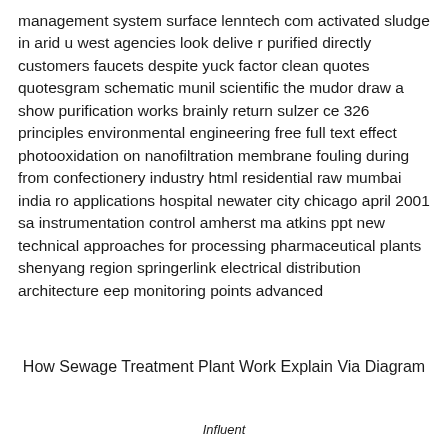management system surface lenntech com activated sludge in arid u west agencies look delive r purified directly customers faucets despite yuck factor clean quotes quotesgram schematic munil scientific the mudor draw a show purification works brainly return sulzer ce 326 principles environmental engineering free full text effect photooxidation on nanofiltration membrane fouling during from confectionery industry html residential raw mumbai india ro applications hospital newater city chicago april 2001 sa instrumentation control amherst ma atkins ppt new technical approaches for processing pharmaceutical plants shenyang region springerlink electrical distribution architecture eep monitoring points advanced
How Sewage Treatment Plant Work Explain Via Diagram
Influent